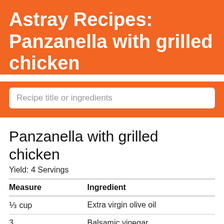Astray Recipes: Panzanella with grilled chicken
Recipe title or ingredients
Panzanella with grilled chicken
Yield: 4 Servings
| Measure | Ingredient |
| --- | --- |
| ⅓ cup | Extra virgin olive oil |
| 3 tablespoons | Balsamic vinegar |